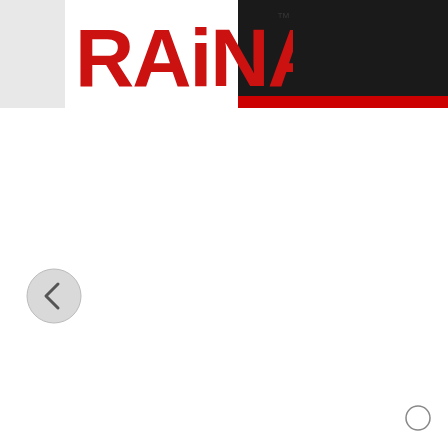[Figure (logo): RAINA brand logo in red bold letters with TM mark, on white background with dark panel and red stripe on the right side of the header]
[Figure (other): Left navigation arrow button - circular grey button with left-pointing chevron]
[Figure (other): Small circle/dot indicator in bottom right corner]